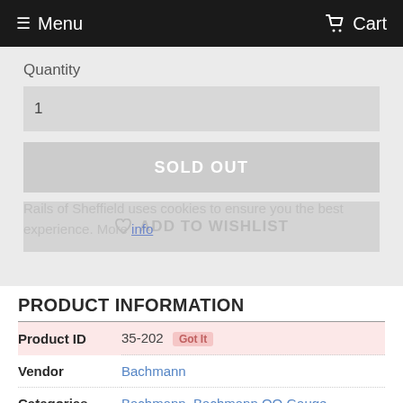≡ Menu   Cart
Quantity
1
SOLD OUT
♡ ADD TO WISHLIST
Rails of Sheffield uses cookies to ensure you the best experience. More info
PRODUCT INFORMATION
|  |  |
| --- | --- |
| Product ID | 35-202  Got It |
| Vendor | Bachmann |
| Categories | Bachmann, Bachmann OO Gauge |